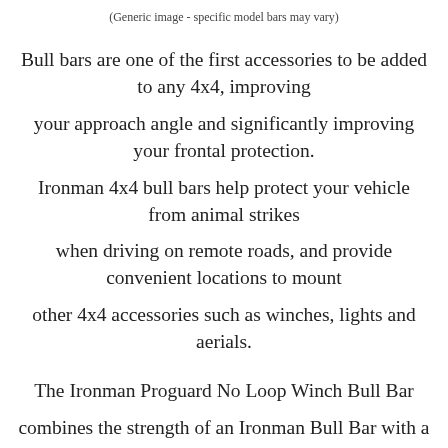(Generic image - specific model bars may vary)
Bull bars are one of the first accessories to be added to any 4x4, improving your approach angle and significantly improving your frontal protection. Ironman 4x4 bull bars help protect your vehicle from animal strikes when driving on remote roads, and provide convenient locations to mount other 4x4 accessories such as winches, lights and aerials.
The Ironman Proguard No Loop Winch Bull Bar combines the strength of an Ironman Bull Bar with a